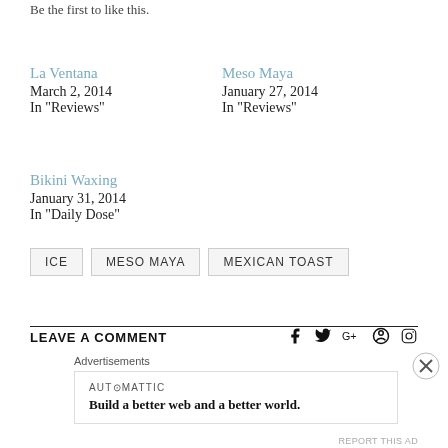Be the first to like this.
La Ventana
March 2, 2014
In "Reviews"
Meso Maya
January 27, 2014
In "Reviews"
Bikini Waxing
January 31, 2014
In "Daily Dose"
ICE
MESO MAYA
MEXICAN TOAST
LEAVE A COMMENT
Advertisements
AUTOMATTIC
Build a better web and a better world.